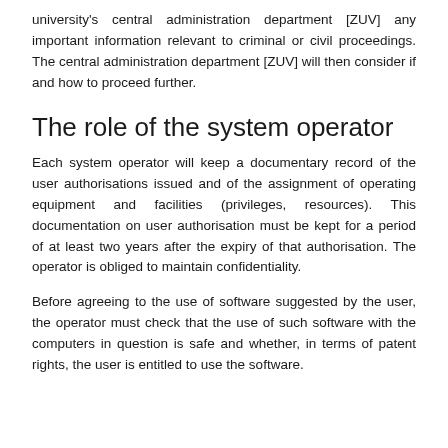university's central administration department [ZUV] any important information relevant to criminal or civil proceedings. The central administration department [ZUV] will then consider if and how to proceed further.
The role of the system operator
Each system operator will keep a documentary record of the user authorisations issued and of the assignment of operating equipment and facilities (privileges, resources). This documentation on user authorisation must be kept for a period of at least two years after the expiry of that authorisation. The operator is obliged to maintain confidentiality.
Before agreeing to the use of software suggested by the user, the operator must check that the use of such software with the computers in question is safe and whether, in terms of patent rights, the user is entitled to use the software.